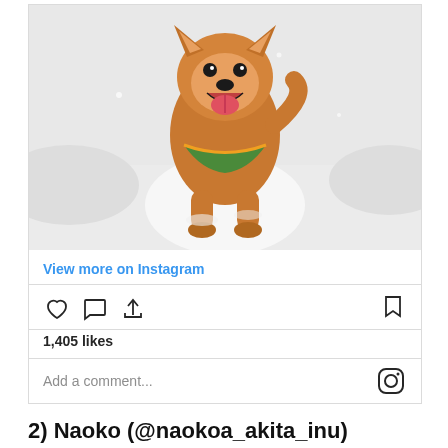[Figure (photo): A happy Shiba Inu dog running through snow, wearing a colorful bandana collar, mouth open and tongue out, photographed from the front.]
View more on Instagram
[Figure (other): Instagram action icons: heart (like), speech bubble (comment), share arrow, and bookmark]
1,405 likes
Add a comment...
2) Naoko (@naokoa_akita_inu)